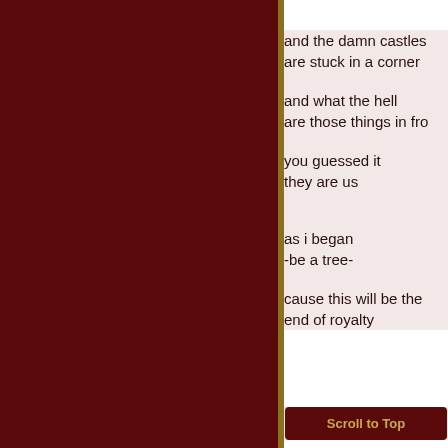[Figure (other): Dark maroon left panel background]
and the damn castles
are stuck in a corner

and what the hell
are those things in fro

you guessed it
they are us


as i began
-be a tree-

cause this will be the
end of royalty
Scroll to Top